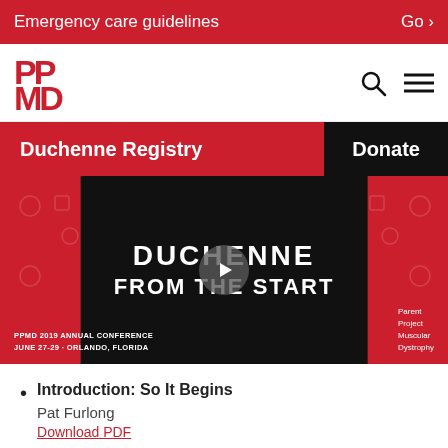Emergency care guidelines    Go >
[Figure (logo): PPMD (Parent Project Muscular Dystrophy) logo in red, with search and menu icons]
Duchenne Registry
Donate
[Figure (screenshot): PPMD 2019 Annual Conference video thumbnail with text 'DUCHENNE FROM THE START', June 27-29 Orlando Florida, Parent Project Muscular Dystrophy]
Introduction: So It Begins
Pat Furlong
Download PDF